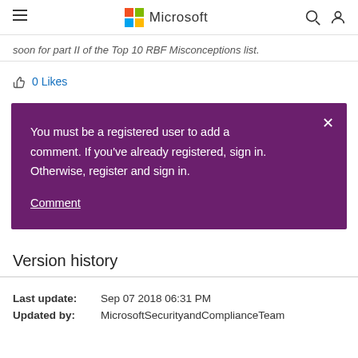Microsoft
soon for part II of the Top 10 RBF Misconceptions list.
0 Likes
You must be a registered user to add a comment. If you've already registered, sign in. Otherwise, register and sign in.

Comment
Version history
| Field | Value |
| --- | --- |
| Last update: | Sep 07 2018 06:31 PM |
| Updated by: | MicrosoftSecurityandComplianceTeam |